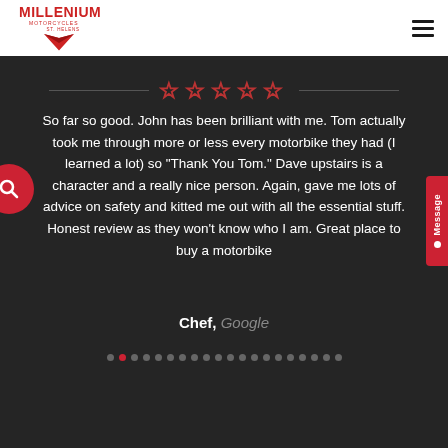[Figure (logo): Millenium Motorcycles St. Helens logo with red diamond/chevron shape]
[Figure (other): Five empty star rating symbols in red outline]
So far so good. John has been brilliant with me. Tom actually took me through more or less every motorbike they had (I learned a lot) so "Thank You Tom." Dave upstairs is a character and a really nice person. Again, gave me lots of advice on safety and kitted me out with all the essential stuff. Honest review as they won't know who I am. Great place to buy a motorbike
Chef, Google
[Figure (other): Carousel navigation dots, 20 dots total, second dot highlighted in red]
[Figure (other): Red circular search button on left edge]
[Figure (other): Red vertical Message tab on right edge]